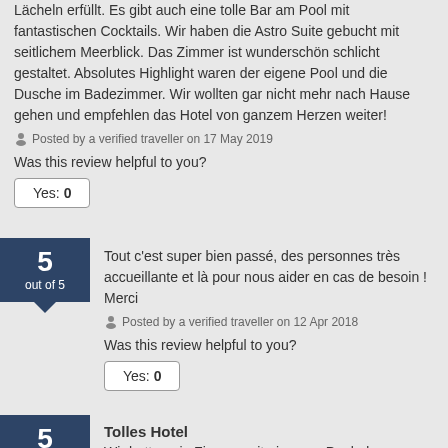Lächeln erfüllt. Es gibt auch eine tolle Bar am Pool mit fantastischen Cocktails. Wir haben die Astro Suite gebucht mit seitlichem Meerblick. Das Zimmer ist wunderschön schlicht gestaltet. Absolutes Highlight waren der eigene Pool und die Dusche im Badezimmer. Wir wollten gar nicht mehr nach Hause gehen und empfehlen das Hotel von ganzem Herzen weiter!
Posted by a verified traveller on 17 May 2019
Was this review helpful to you?
Yes: 0
5 out of 5
Tout c'est super bien passé, des personnes très accueillante et là pour nous aider en cas de besoin ! Merci
Posted by a verified traveller on 12 Apr 2018
Was this review helpful to you?
Yes: 0
5 out of 5
Tolles Hotel
Wir hatten ein Zimmer mit eigenem Pool, das Personal war